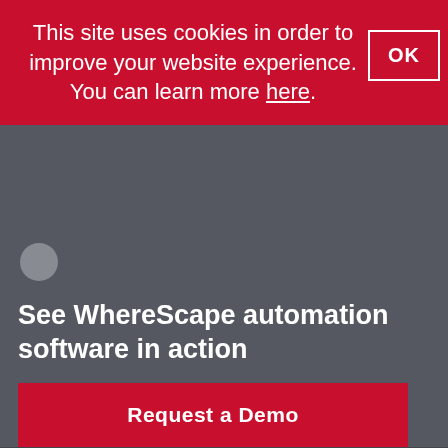This site uses cookies in order to improve your website experience. You can learn more here.
[Figure (screenshot): Navigation icons area with two circular elements on dark gray background]
See WhereScape automation software in action
Request a Demo
[Figure (logo): WhereScape logo with registered trademark symbol on dark footer background]